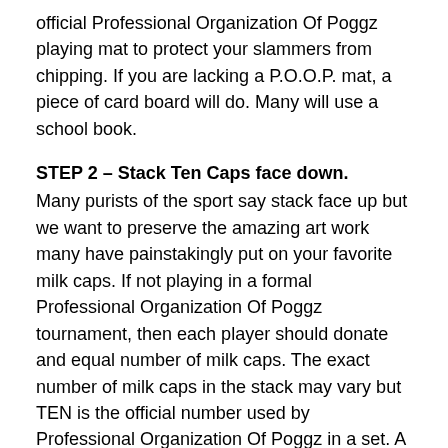official Professional Organization Of Poggz playing mat to protect your slammers from chipping. If you are lacking a P.O.O.P. mat, a piece of card board will do. Many will use a school book.
STEP 2 – Stack Ten Caps face down.
Many purists of the sport say stack face up but we want to preserve the amazing art work many have painstakingly put on your favorite milk caps. If not playing in a formal Professional Organization Of Poggz tournament, then each player should donate and equal number of milk caps. The exact number of milk caps in the stack may vary but TEN is the official number used by Professional Organization Of Poggz in a set. A match is won when one player wins three sets.
STEP 3 – Decide which player will go first.